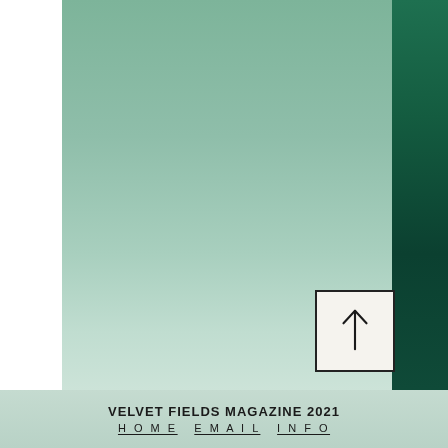[Figure (illustration): Full-bleed background with muted sage green gradient main panel on the right side of the page, dark forest green vertical strip on the far right, and white space on the left. An upward-pointing arrow inside a thin-bordered rectangular box appears in the lower right portion of the green panel.]
VELVET FIELDS MAGAZINE 2021
HOME   EMAIL   INFO